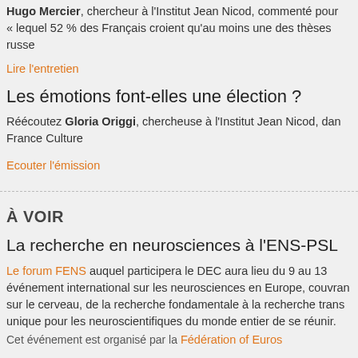Hugo Mercier, chercheur à l'Institut Jean Nicod, commenté pour « lequel 52 % des Français croient qu'au moins une des thèses russe
Lire l'entretien
Les émotions font-elles une élection ?
Réécoutez Gloria Origgi, chercheuse à l'Institut Jean Nicod, dans France Culture
Ecouter l'émission
À VOIR
La recherche en neurosciences à l'ENS-PSL
Le forum FENS auquel participera le DEC aura lieu du 9 au 13 événement international sur les neurosciences en Europe, couvran sur le cerveau, de la recherche fondamentale à la recherche trans unique pour les neuroscientifiques du monde entier de se réunir.
Cet événement est organisé par la Fédération of Euros...